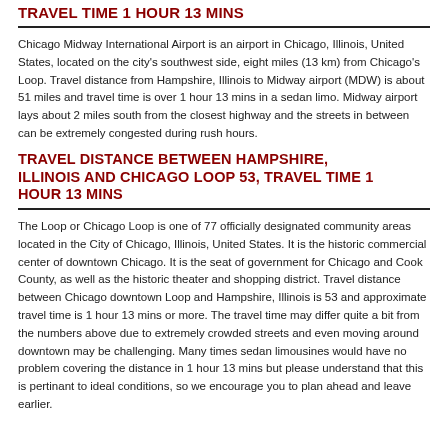TRAVEL TIME 1 HOUR 13 MINS
Chicago Midway International Airport is an airport in Chicago, Illinois, United States, located on the city's southwest side, eight miles (13 km) from Chicago's Loop. Travel distance from Hampshire, Illinois to Midway airport (MDW) is about 51 miles and travel time is over 1 hour 13 mins in a sedan limo. Midway airport lays about 2 miles south from the closest highway and the streets in between can be extremely congested during rush hours.
TRAVEL DISTANCE BETWEEN HAMPSHIRE, ILLINOIS AND CHICAGO LOOP 53, TRAVEL TIME 1 HOUR 13 MINS
The Loop or Chicago Loop is one of 77 officially designated community areas located in the City of Chicago, Illinois, United States. It is the historic commercial center of downtown Chicago. It is the seat of government for Chicago and Cook County, as well as the historic theater and shopping district. Travel distance between Chicago downtown Loop and Hampshire, Illinois is 53 and approximate travel time is 1 hour 13 mins or more. The travel time may differ quite a bit from the numbers above due to extremely crowded streets and even moving around downtown may be challenging. Many times sedan limousines would have no problem covering the distance in 1 hour 13 mins but please understand that this is pertinant to ideal conditions, so we encourage you to plan ahead and leave earlier.